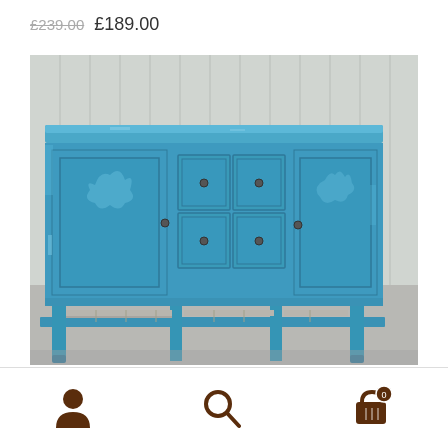£239.00  £189.00
[Figure (photo): A distressed turquoise/teal painted wooden sideboard/buffet with two cabinet doors on each side, four central drawers with small round knobs, and an open lower shelf. The piece shows heavy distressing with white paint showing through. Set against a grey/white wooden plank background.]
[Figure (other): Bottom navigation bar with three icons: user/account icon, search magnifying glass icon, and shopping cart icon with a badge showing 0]